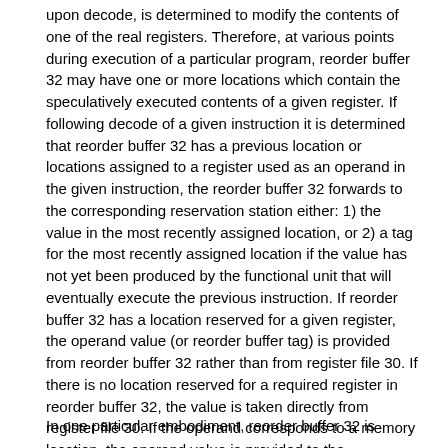upon decode, is determined to modify the contents of one of the real registers. Therefore, at various points during execution of a particular program, reorder buffer 32 may have one or more locations which contain the speculatively executed contents of a given register. If following decode of a given instruction it is determined that reorder buffer 32 has a previous location or locations assigned to a register used as an operand in the given instruction, the reorder buffer 32 forwards to the corresponding reservation station either: 1) the value in the most recently assigned location, or 2) a tag for the most recently assigned location if the value has not yet been produced by the functional unit that will eventually execute the previous instruction. If reorder buffer 32 has a location reserved for a given register, the operand value (or reorder buffer tag) is provided from reorder buffer 32 rather than from register file 30. If there is no location reserved for a required register in reorder buffer 32, the value is taken directly from register file 30. If the operand corresponds to a memory location, the operand value is provided to the reservation station through load/store unit 26.
In one particular embodiment, reorder buffer 32 is